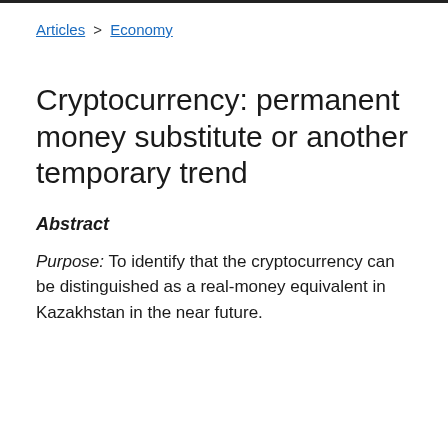Articles > Economy
Cryptocurrency: permanent money substitute or another temporary trend
Abstract
Purpose: To identify that the cryptocurrency can be distinguished as a real-money equivalent in Kazakhstan in the near future.